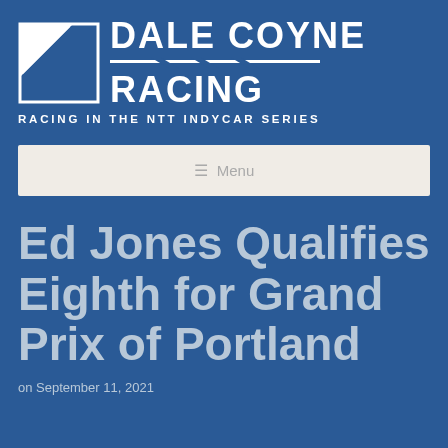[Figure (logo): Dale Coyne Racing logo with triangular icon and text DALE COYNE RACING with diagonal slash lines, subtitle RACING IN THE NTT INDYCAR SERIES]
[Figure (screenshot): Navigation menu bar with hamburger icon and Menu text on light beige background]
Ed Jones Qualifies Eighth for Grand Prix of Portland
on September 11, 2021